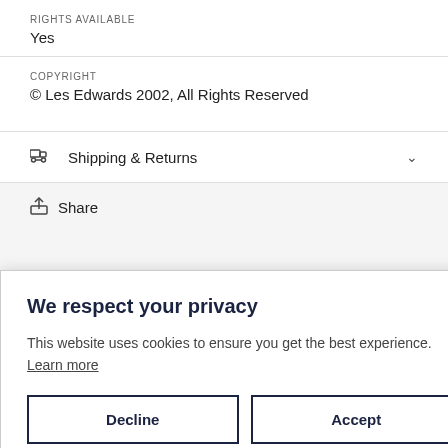RIGHTS AVAILABLE
Yes
COPYRIGHT
© Les Edwards 2002, All Rights Reserved
Shipping & Returns
Share
We respect your privacy
This website uses cookies to ensure you get the best experience. Learn more
Decline
Accept
[Figure (photo): Partial view of an illustration or artwork at the bottom of the page, showing warm orange and red tones suggesting a fantasy or dramatic scene.]